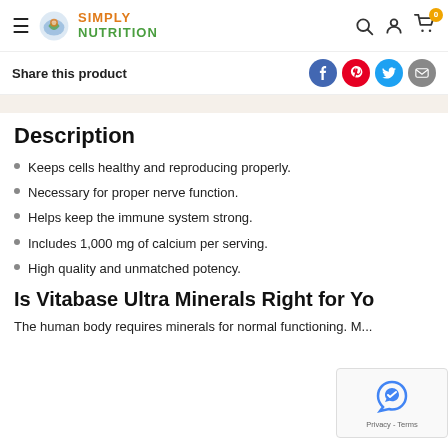[Figure (screenshot): Simply Nutrition website navigation bar with hamburger menu, logo, search, account, and cart icons]
Share this product
Description
Keeps cells healthy and reproducing properly.
Necessary for proper nerve function.
Helps keep the immune system strong.
Includes 1,000 mg of calcium per serving.
High quality and unmatched potency.
Is Vitabase Ultra Minerals Right for Yo
The human body requires minerals for normal functioning. M...